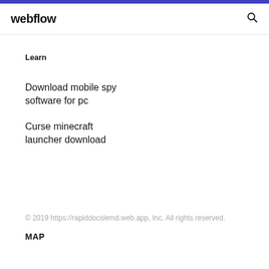webflow
Learn
Download mobile spy software for pc
Curse minecraft launcher download
© 2019 https://rapiddocslemd.web.app, Inc. All rights reserved.
MAP